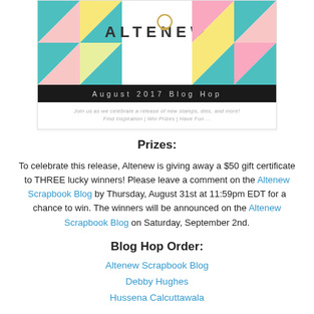[Figure (illustration): Altenew August 2017 Blog Hop banner with colorful geometric triangle shapes (teal, pink, yellow), the Altenew logo with a ring icon, a black bar reading 'August 2017 Blog Hop', and subtitle text 'Join us as we celebrate a release of new stamps, dies, and more! Find Inspiration | Win Prizes | Have Fun']
Prizes:
To celebrate this release, Altenew is giving away a $50 gift certificate to THREE lucky winners! Please leave a comment on the Altenew Scrapbook Blog by Thursday, August 31st at 11:59pm EDT for a chance to win. The winners will be announced on the Altenew Scrapbook Blog on Saturday, September 2nd.
Blog Hop Order:
Altenew Scrapbook Blog
Debby Hughes
Hussena Calcuttawala